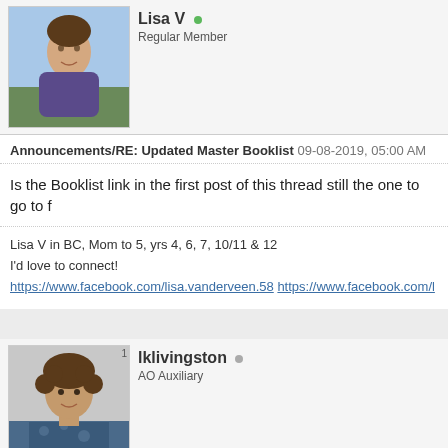[Figure (photo): Profile photo of Lisa V, a woman outdoors wearing a purple jacket]
Lisa V
Regular Member
Announcements/RE: Updated Master Booklist 09-08-2019, 05:00 AM
Is the Booklist link in the first post of this thread still the one to go to f
Lisa V in BC, Mom to 5, yrs 4, 6, 7, 10/11 & 12
I'd love to connect!
https://www.facebook.com/lisa.vanderveen.58 https://www.facebook.com/l
[Figure (photo): Profile photo of lklivingston, a woman with curly hair]
lklivingston
AO Auxiliary
Announcements/RE: Updated Master Booklist 09-08-2019, 10:31 AM
Lisa-v Wrote: